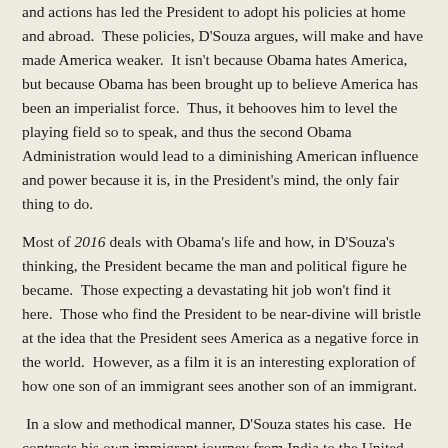and actions has led the President to adopt his policies at home and abroad.  These policies, D'Souza argues, will make and have made America weaker.  It isn't because Obama hates America, but because Obama has been brought up to believe America has been an imperialist force.  Thus, it behooves him to level the playing field so to speak, and thus the second Obama Administration would lead to a diminishing American influence and power because it is, in the President's mind, the only fair thing to do.
Most of 2016 deals with Obama's life and how, in D'Souza's thinking, the President became the man and political figure he became.  Those expecting a devastating hit job won't find it here.  Those who find the President to be near-divine will bristle at the idea that the President sees America as a negative force in the world.  However, as a film it is an interesting exploration of how one son of an immigrant sees another son of an immigrant.
In a slow and methodical manner, D'Souza states his case.  He contrasts his own immigrant journey from India to the United States to that of Barack Obama, Sr.  In D'Souza's telling, both he and Obama, Sr. came to America, but saw different things.  D'Souza saw the promise of America: the ability to advance far beyond what his homeland had ever his mind placed on him. It lit...